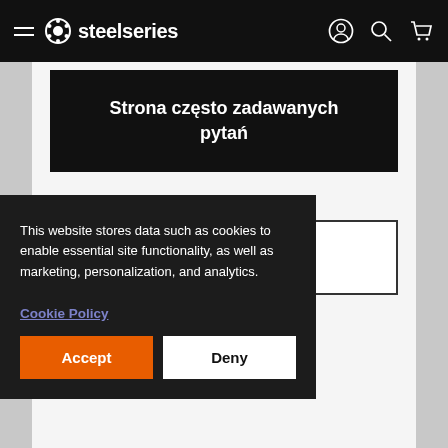SteelSeries navigation bar with hamburger menu, logo, user, search, and cart icons
Strona często zadawanych pytań
Kontakt z pomocą
This website stores data such as cookies to enable essential site functionality, as well as marketing, personalization, and analytics.
Cookie Policy
Accept
Deny